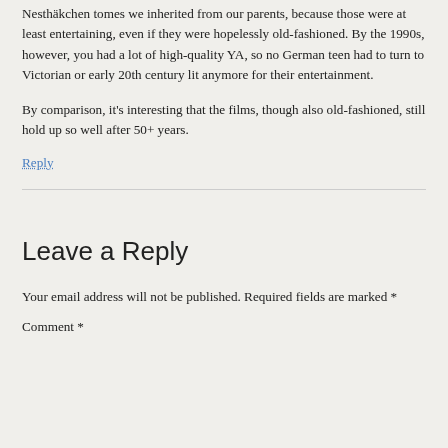Nesthäkchen tomes we inherited from our parents, because those were at least entertaining, even if they were hopelessly old-fashioned. By the 1990s, however, you had a lot of high-quality YA, so no German teen had to turn to Victorian or early 20th century lit anymore for their entertainment.
By comparison, it's interesting that the films, though also old-fashioned, still hold up so well after 50+ years.
Reply
Leave a Reply
Your email address will not be published. Required fields are marked *
Comment *